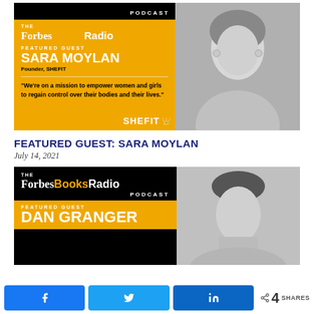[Figure (illustration): Forbes Books Radio Podcast featured guest card for Sara Moylan, Founder SHEFIT, with quote about empowering women and girls, with SHEFIT branding and woman's photo]
FEATURED GUEST: SARA MOYLAN
July 14, 2021
[Figure (illustration): Forbes Books Radio Podcast featured guest card for Dan Granger, partially visible]
[Figure (infographic): Social share bar with Facebook, Twitter, LinkedIn buttons and 4 SHARES count]